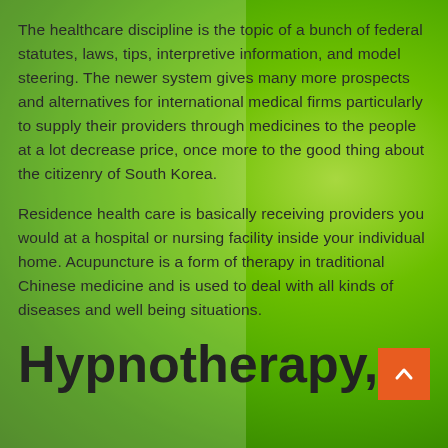The healthcare discipline is the topic of a bunch of federal statutes, laws, tips, interpretive information, and model steering. The newer system gives many more prospects and alternatives for international medical firms particularly to supply their providers through medicines to the people at a lot decrease price, once more to the good thing about the citizenry of South Korea.
Residence health care is basically receiving providers you would at a hospital or nursing facility inside your individual home. Acupuncture is a form of therapy in traditional Chinese medicine and is used to deal with all kinds of diseases and well being situations.
Hypnotherapy,
[Figure (other): Orange scroll-to-top button with upward chevron arrow icon, positioned at bottom right]